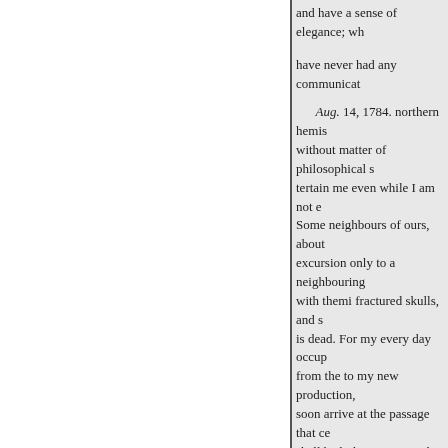and have a sense of elegance; wh
have never had any communicat
Aug. 14, 1784. northern hemis without matter of philosophical s tertain me even while I am not e Some neighbours of ours, about excursion only to a neighbouring with themi fractured skulls, and s is dead. For my every day occup from the to my new production, soon arrive at the passage that ce shall be loth to expunge, but whi the criminals can be conso preci so unproducby some untimely st possihave made wheels and hors not likely to owe my death to eit
as well. Your mother and I conti find in those agreeable bowers s but little room to regret tion of fr Having touched that and these tw